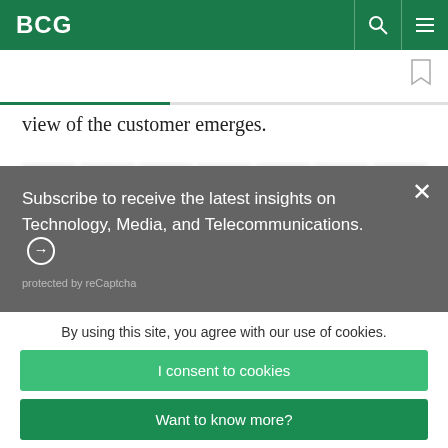BCG
view of the customer emerges.
Subscribe to receive the latest insights on Technology, Media, and Telecommunications. ➜
protected by reCaptcha
By using this site, you agree with our use of cookies.
I consent to cookies
Want to know more?
Read our Cookie Policy